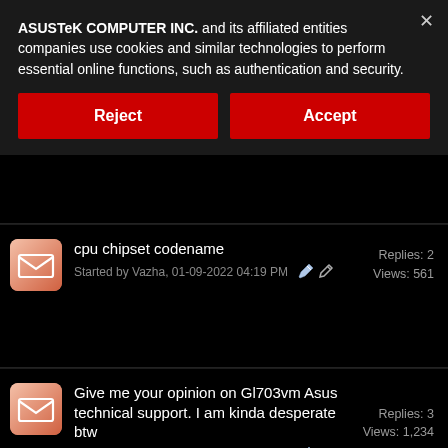ASUSTeK COMPUTER INC. and its affiliated entities companies use cookies and similar technologies to perform essential online functions, such as authentication and security.
Reject
Accept
cpu chipset codename
Started by Vazha, 01-09-2022 04:19 PM
Replies: 2
Views: 561
Give me your opinion on Gl703vm Asus technical support. I am kinda desperate btw
Started by Josevi, 07-03-2021 02:12 AM
Replies: 3
Views: 1,234